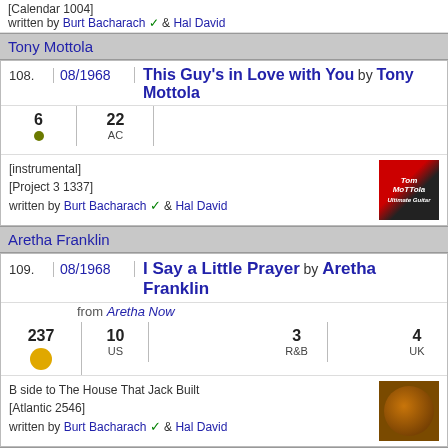[Calendar 1004]
written by Burt Bacharach & Hal David
Tony Mottola
108. 08/1968 This Guy's in Love with You by Tony Mottola
|  |  |  |  |  |  |  |  |
| --- | --- | --- | --- | --- | --- | --- | --- |
| 6 | 22 AC |  |  |  |  |  |  |
[instrumental]
[Project 3 1337]
written by Burt Bacharach & Hal David
Aretha Franklin
109. 08/1968 I Say a Little Prayer by Aretha Franklin
from Aretha Now
|  |  |  |  |  |  |  |  |
| --- | --- | --- | --- | --- | --- | --- | --- |
| 237 | 10 US |  |  | 3 R&B |  | 4 UK |  |
B side to The House That Jack Built
[Atlantic 2546]
written by Burt Bacharach & Hal David
Herb Alpert
110. 08/1968 To Wait for Love by Herb Alpert
from Warm
|  |  |  |  |  |  |  |  |
| --- | --- | --- | --- | --- | --- | --- | --- |
| 39 | 51 US | 2 AC |  |  |  |  |  |